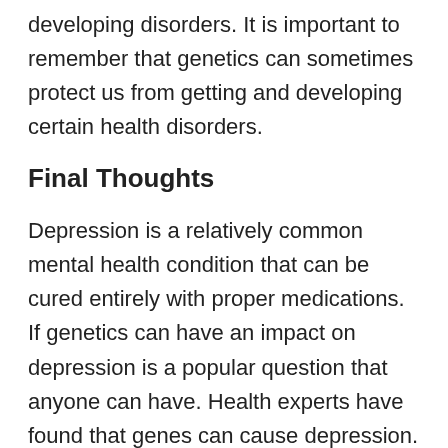developing disorders. It is important to remember that genetics can sometimes protect us from getting and developing certain health disorders.
Final Thoughts
Depression is a relatively common mental health condition that can be cured entirely with proper medications. If genetics can have an impact on depression is a popular question that anyone can have. Health experts have found that genes can cause depression.